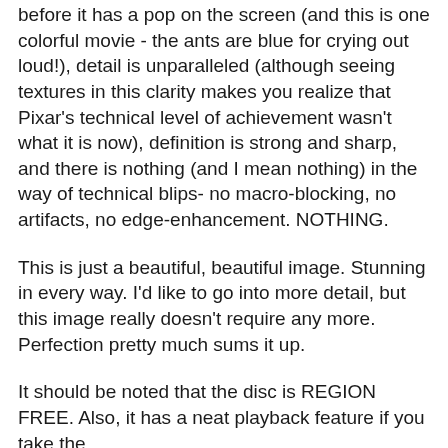before it has a pop on the screen (and this is one colorful movie - the ants are blue for crying out loud!), detail is unparalleled (although seeing textures in this clarity makes you realize that Pixar's technical level of achievement wasn't what it is now), definition is strong and sharp, and there is nothing (and I mean nothing) in the way of technical blips- no macro-blocking, no artifacts, no edge-enhancement. NOTHING.
This is just a beautiful, beautiful image. Stunning in every way. I'd like to go into more detail, but this image really doesn't require any more. Perfection pretty much sums it up.
It should be noted that the disc is REGION FREE. Also, it has a neat playback feature if you take the